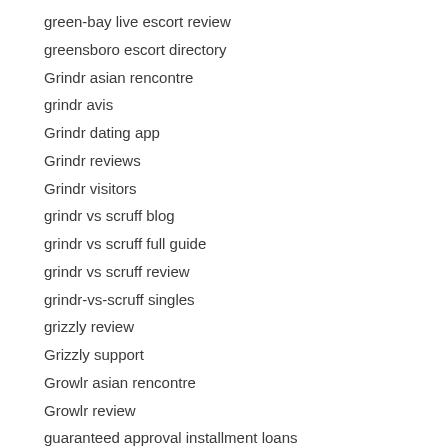green-bay live escort review
greensboro escort directory
Grindr asian rencontre
grindr avis
Grindr dating app
Grindr reviews
Grindr visitors
grindr vs scruff blog
grindr vs scruff full guide
grindr vs scruff review
grindr-vs-scruff singles
grizzly review
Grizzly support
Growlr asian rencontre
Growlr review
guaranteed approval installment loans
guaranteed installment loans
guaranteedinstallmentloans.com installment loan